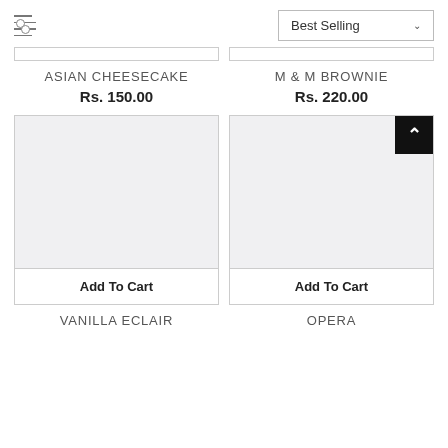[Figure (screenshot): Filter/sort controls: a filter icon (three horizontal sliders) on the left and a 'Best Selling' dropdown on the right]
ASIAN CHEESECAKE
Rs. 150.00
M & M BROWNIE
Rs. 220.00
[Figure (other): Product card for VANILLA ECLAIR with placeholder image and Add To Cart button]
[Figure (other): Product card for OPERA with placeholder image, back-to-top button, and Add To Cart button]
VANILLA ECLAIR
OPERA